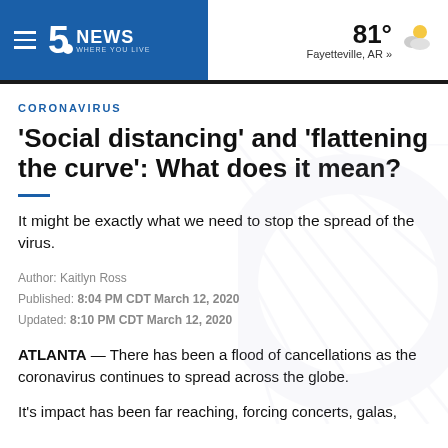5 NEWS WHERE YOU LIVE | 81° Fayetteville, AR »
CORONAVIRUS
'Social distancing' and 'flattening the curve': What does it mean?
It might be exactly what we need to stop the spread of the virus.
Author: Kaitlyn Ross
Published: 8:04 PM CDT March 12, 2020
Updated: 8:10 PM CDT March 12, 2020
ATLANTA — There has been a flood of cancellations as the coronavirus continues to spread across the globe.
It's impact has been far reaching, forcing concerts, galas,